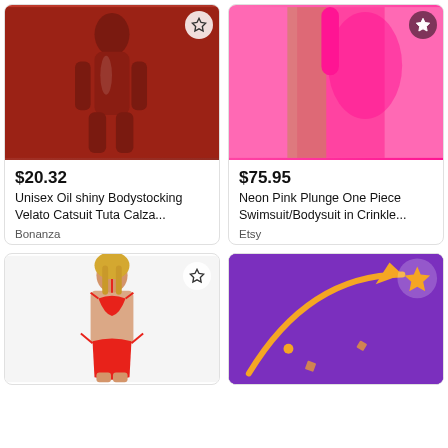[Figure (photo): Red shiny latex/oil bodystocking catsuit on mannequin, viewed from the front]
$20.32
Unisex Oil shiny Bodystocking Velato Catsuit Tuta Calza...
Bonanza
[Figure (photo): Neon pink plunge one piece swimsuit/bodysuit worn by a model, close-up side view]
$75.95
Neon Pink Plunge One Piece Swimsuit/Bodysuit in Crinkle...
Etsy
[Figure (photo): Woman wearing red triangle bikini top and matching tie-side bottoms]
[Figure (illustration): Purple background promotional card with orange arrow and star icon]